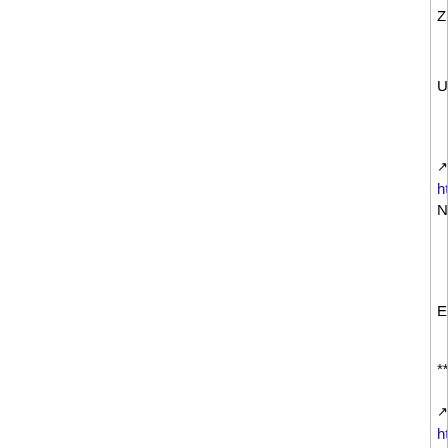Zubeidi of Fadiga and Co Solicitors, London
UNHCR is the United Nations High Commission for Refugees.
http://www.petitiononline.com/amdani/petiti contains many testimonials from the Nottingham community, and has over 1,200signatures.
Ends
****
http://friendsofamdani.wordpress.com
Another Nottingham Activist Detained For Deportation [Feature]
http://indymedia.org.uk/en/regions/nottingha